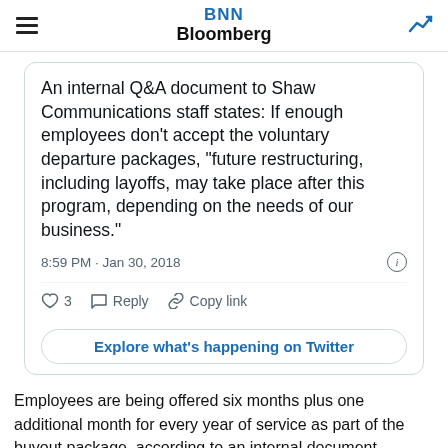BNN Bloomberg
An internal Q&A document to Shaw Communications staff states: If enough employees don't accept the voluntary departure packages, "future restructuring, including layoffs, may take place after this program, depending on the needs of our business."
8:59 PM · Jan 30, 2018
3  Reply  Copy link
Explore what's happening on Twitter
Employees are being offered six months plus one additional month for every year of service as part of the buyout package, according to an internal document obtained by BNN. The pay will be distributed at either the higher of either the employee's 2017 earnings or an average of the